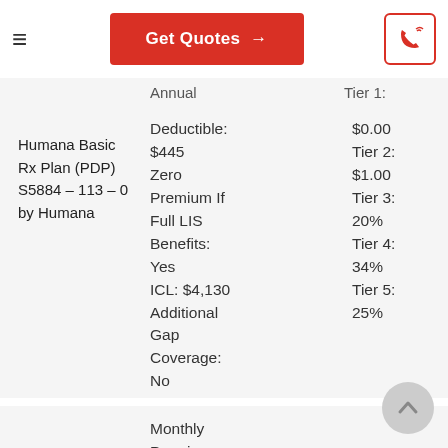Get Quotes →
| Plan | Details | Tiers |
| --- | --- | --- |
| Humana Basic Rx Plan (PDP) S5884 – 113 – 0 by Humana | Annual Deductible: $445 Zero Premium If Full LIS Benefits: Yes ICL: $4,130 Additional Gap Coverage: No | Tier 1: $0.00 Tier 2: $1.00 Tier 3: 20% Tier 4: 34% Tier 5: 25% |
| Plan | Details | Tiers |
| --- | --- | --- |
|  | Monthly Premium: $40.30 Annual | Tier 1: $4.00 |